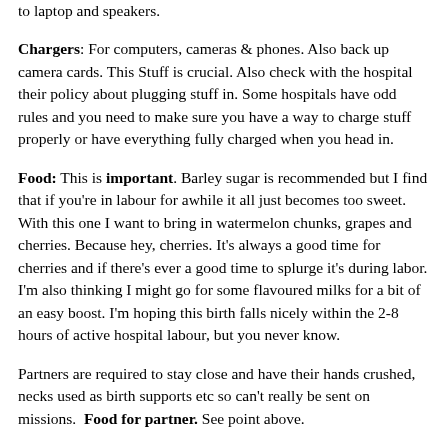to laptop and speakers.
Chargers: For computers, cameras & phones. Also back up camera cards. This Stuff is crucial. Also check with the hospital their policy about plugging stuff in. Some hospitals have odd rules and you need to make sure you have a way to charge stuff properly or have everything fully charged when you head in.
Food: This is important. Barley sugar is recommended but I find that if you're in labour for awhile it all just becomes too sweet. With this one I want to bring in watermelon chunks, grapes and cherries. Because hey, cherries. It's always a good time for cherries and if there's ever a good time to splurge it's during labor. I'm also thinking I might go for some flavoured milks for a bit of an easy boost. I'm hoping this birth falls nicely within the 2-8 hours of active hospital labour, but you never know.
Partners are required to stay close and have their hands crushed, necks used as birth supports etc so can't really be sent on missions.  Food for partner. See point above.